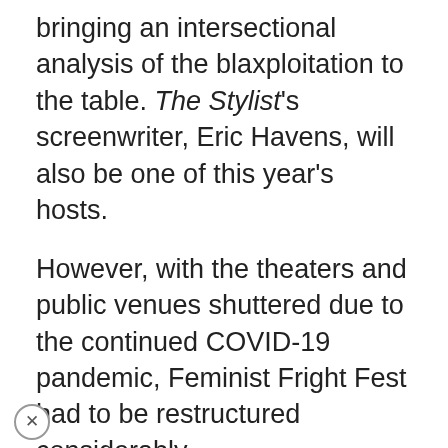bringing an intersectional analysis of the blaxploitation to the table. The Stylist's screenwriter, Eric Havens, will also be one of this year's hosts.
However, with the theaters and public venues shuttered due to the continued COVID-19 pandemic, Feminist Fright Fest had to be restructured considerably.
To get more insight on this year's event we sat down with Megan Willaims, the Emily Taylor Center's assistant director.
"We wanted to see how we could use this as a way to create rather than just passively